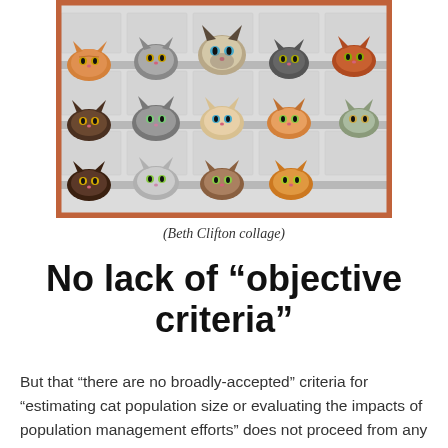[Figure (photo): Collage of many cats peering over rows of white brick ledges, arranged in three rows, with various breeds and colors including tabby, siamese, orange, gray, and black cats.]
(Beth Clifton collage)
No lack of “objective criteria”
But that “there are no broadly-accepted” criteria for “estimating cat population size or evaluating the impacts of population management efforts” does not proceed from any lack of “objective